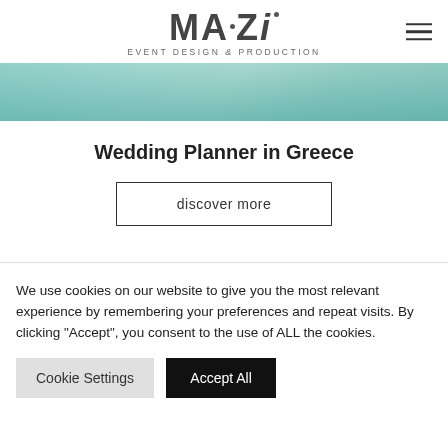[Figure (logo): MAZI Event Design & Production logo with stylized text and dot accent]
[Figure (photo): Teal/turquoise ocean water texture hero banner strip]
Wedding Planner in Greece
discover more
We use cookies on our website to give you the most relevant experience by remembering your preferences and repeat visits. By clicking “Accept”, you consent to the use of ALL the cookies.
Cookie Settings
Accept All